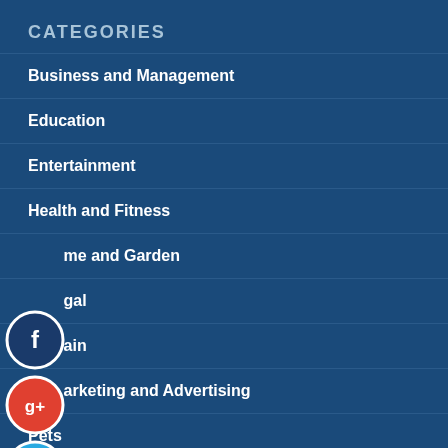CATEGORIES
Business and Management
Education
Entertainment
Health and Fitness
Home and Garden
Legal
Pain
Marketing and Advertising
Pets
[Figure (infographic): Four social media sharing icons overlaid on the list: Facebook (dark blue circle with f), Google+ (red circle with g+), Twitter (blue circle with bird), and a white plus circle for adding/subscribing]